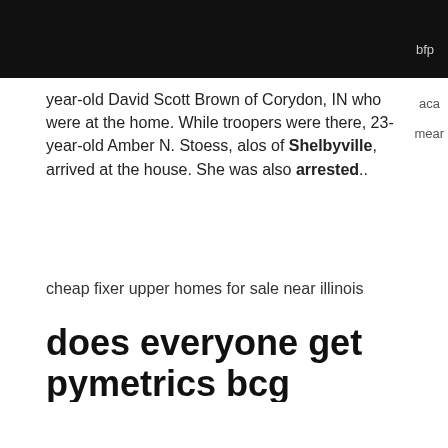bfp
year-old David Scott Brown of Corydon, IN who were at the home. While troopers were there, 23-year-old Amber N. Stoess, alos of Shelbyville, arrived at the house. She was also arrested..
cheap fixer upper homes for sale near illinois
does everyone get pymetrics bcg
Shelby County, KY Mugshots - BUSTEDNEWSPAPER.COM Shelby County Mugshots Kentucky Mugshots are of people booked at the Shelby